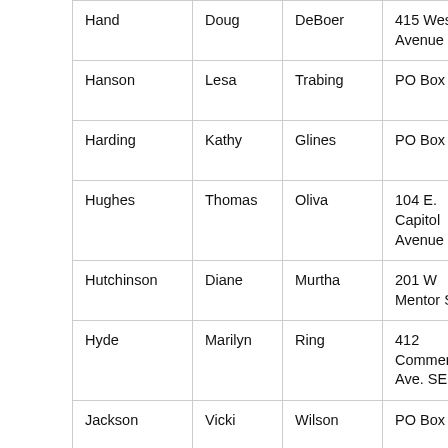| Last Name | First Name | Maiden/Other | Address | City | Zip |
| --- | --- | --- | --- | --- | --- |
| Hand | Doug | DeBoer | 415 West 1st Avenue | Miller | 5736 1346 |
| Hanson | Lesa | Trabing | PO Box 500 | Alexandria | 5731 0500 |
| Harding | Kathy | Glines | PO Box 26 | Buffalo | 5772 0026 |
| Hughes | Thomas | Oliva | 104 E. Capitol Avenue | Pierre | 5750 |
| Hutchinson | Diane | Murtha | 201 W Mentor St | Olivet | 5705 2103 |
| Hyde | Marilyn | Ring | 412 Commercial Ave. SE | Highmore | 5734 |
| Jackson | Vicki | Wilson | PO Box 280 | Kadoka | 5754 0280 |
| Jerauld | Shannon | Fagerhaug | PO Box 422 | Wessington Springs | 5738 0422 |
| Jones | Janice | Whitney | PO Box 307 | Murdo | 5755 0307 |